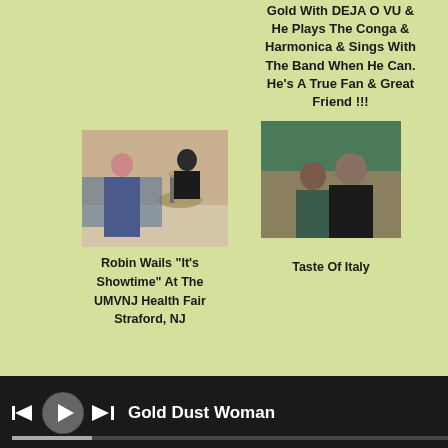Gold With DEJA O VU & He Plays The Conga & Harmonica & Sings With The Band When He Can. He's A True Fan & Great Friend !!!
[Figure (photo): Photo of Robin Wails performing at UMVNJ Health Fair, Straford NJ - woman singing and man playing drums]
[Figure (photo): Photo of two people posing together at Taste Of Italy]
Robin Wails "It's Showtime" At The UMVNJ Health Fair Straford, NJ
Taste Of Italy
[Figure (photo): Partial photo at bottom left]
[Figure (photo): Partial photo at bottom right]
Gold Dust Woman